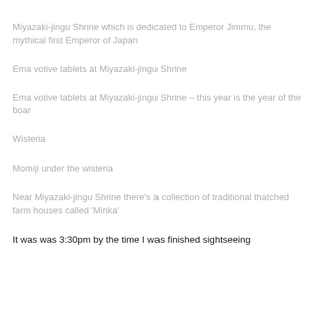Miyazaki-jingu Shrine which is dedicated to Emperor Jimmu, the mythical first Emperor of Japan
Ema votive tablets at Miyazaki-jingu Shrine
Ema votive tablets at Miyazaki-jingu Shrine – this year is the year of the boar
Wisteria
Momiji under the wisteria
Near Miyazaki-jingu Shrine there's a collection of traditional thatched farm houses called 'Minka'
It was was 3:30pm by the time I was finished sightseeing